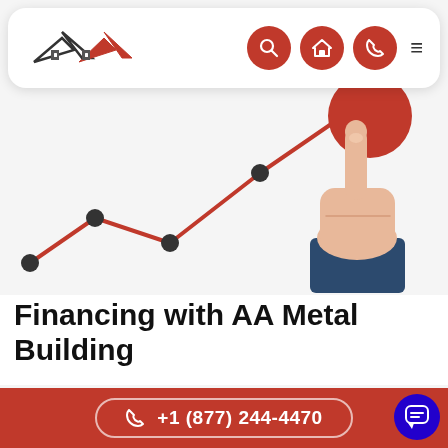[Figure (illustration): Website screenshot showing AA Metal Building navigation bar with logo (roof/house icon with X and red chevrons), three red circle icons (search, home, phone), and hamburger menu. Below is a hero illustration of a line chart trending upward with dark circular data points, and a cartoon hand (business suit sleeve) pointing upward at a red circle.]
Financing with AA Metal Building
AA Metal Buildings makes it easy for you to buy your
+1 (877) 244-4470